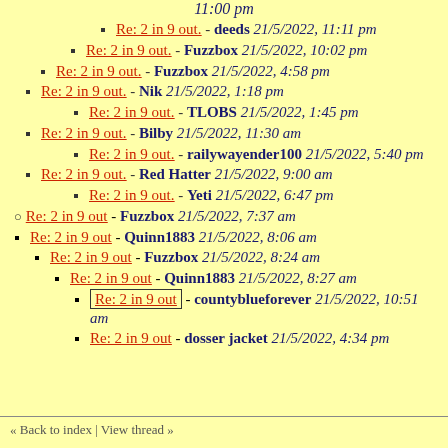11:00 pm (partial, top of page)
Re: 2 in 9 out. - deeds 21/5/2022, 11:11 pm
Re: 2 in 9 out. - Fuzzbox 21/5/2022, 10:02 pm
Re: 2 in 9 out. - Fuzzbox 21/5/2022, 4:58 pm
Re: 2 in 9 out. - Nik 21/5/2022, 1:18 pm
Re: 2 in 9 out. - TLOBS 21/5/2022, 1:45 pm
Re: 2 in 9 out. - Bilby 21/5/2022, 11:30 am
Re: 2 in 9 out. - railywayender100 21/5/2022, 5:40 pm
Re: 2 in 9 out. - Red Hatter 21/5/2022, 9:00 am
Re: 2 in 9 out. - Yeti 21/5/2022, 6:47 pm
Re: 2 in 9 out - Fuzzbox 21/5/2022, 7:37 am
Re: 2 in 9 out - Quinn1883 21/5/2022, 8:06 am
Re: 2 in 9 out - Fuzzbox 21/5/2022, 8:24 am
Re: 2 in 9 out - Quinn1883 21/5/2022, 8:27 am
Re: 2 in 9 out - countyblueforever 21/5/2022, 10:51 am
Re: 2 in 9 out - dosser jacket 21/5/2022, 4:34 pm
« Back to index | View thread »